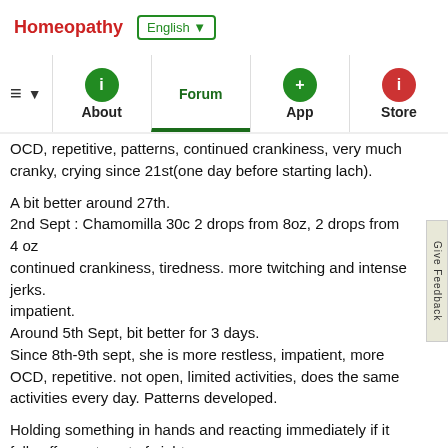Homeopathy  English ▼
≡  ▼  About  Forum  App  Store
OCD, repetitive, patterns, continued crankiness, very much cranky, crying since 21st(one day before starting lach).

A bit better around 27th.
2nd Sept : Chamomilla 30c 2 drops from 8oz, 2 drops from 4 oz
continued crankiness, tiredness. more twitching and intense jerks.
impatient.
Around 5th Sept, bit better for 3 days.
Since 8th-9th sept, she is more restless, impatient, more OCD, repetitive. not open, limited activities, does the same activities every day. Patterns developed.

Holding something in hands and reacting immediately if it falls off or gets out of sight.
OCD is getting more and more. Doing things back and forth until she feels it right.

These are all old symptoms. Now it can be said that she has regressed a LOT, kind of close to where she was before in those behaviours.